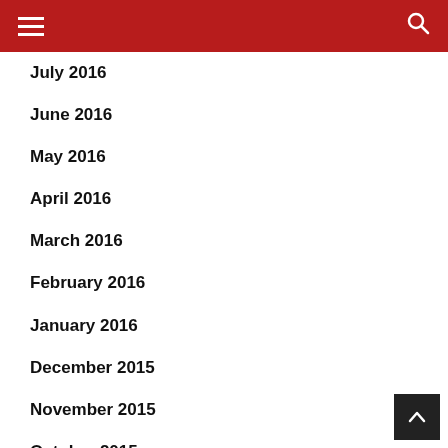☰ 🔍
July 2016
June 2016
May 2016
April 2016
March 2016
February 2016
January 2016
December 2015
November 2015
October 2015
September 2015
August 2015
July 2015
June 2015